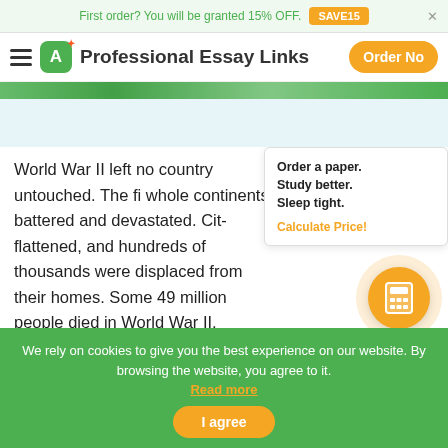First order? You will be granted 15% OFF. SAVE15
[Figure (logo): Professional Essay Links logo with A+ icon and hamburger menu, orange Order Now button]
World War II left no country untouched. The fi... whole continents battered and devastated. Cit... flattened, and hundreds of thousands were displaced from their homes. Some 49 million people died in World War II, including 400,000 American soldiers. Another 11... including 6 million Jews, were killed in German... concentration camps. Battles took place in nearly every...
Order a paper. Study better. Sleep tight. Calculate Price!
We rely on cookies to give you the best experience on our website. By browsing the website, you agree to it. Read more I agree